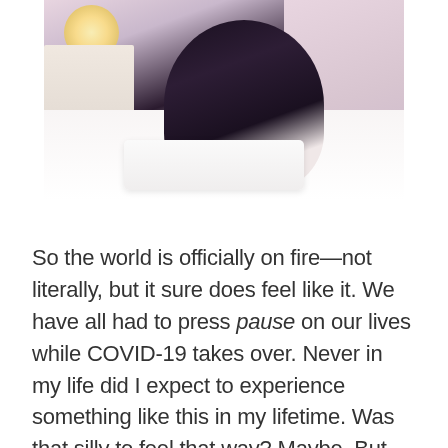[Figure (photo): A photograph showing a person in dark clothing sitting/resting on a bed with white bedding and pillows. A bedside table with a lamp glowing warmly is visible on the left. The room has pinkish-purple tones.]
So the world is officially on fire—not literally, but it sure does feel like it. We have all had to press pause on our lives while COVID-19 takes over. Never in my life did I expect to experience something like this in my lifetime. Was that silly to feel that way? Maybe. But this is weird, right?